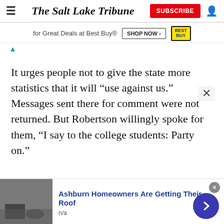The Salt Lake Tribune
[Figure (other): Best Buy advertisement banner: 'for Great Deals at Best Buy®' with SHOP NOW button and Best Buy logo]
It urges people not to give the state more statistics that it will “use against us.” Messages sent there for comment were not returned. But Robertson willingly spoke for them, “I say to the college students: Party on.”
[Figure (other): Advertisement: Ashburn Homeowners Are Getting Their Roof. n/a. Shows roofing image on left, blue arrow button on right.]